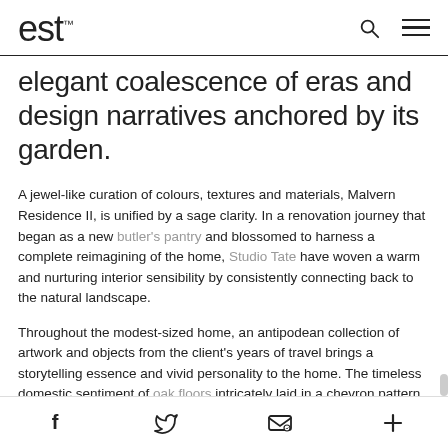est™
elegant coalescence of eras and design narratives anchored by its garden.
A jewel-like curation of colours, textures and materials, Malvern Residence II, is unified by a sage clarity. In a renovation journey that began as a new butler's pantry and blossomed to harness a complete reimagining of the home, Studio Tate have woven a warm and nurturing interior sensibility by consistently connecting back to the natural landscape.
Throughout the modest-sized home, an antipodean collection of artwork and objects from the client's years of travel brings a storytelling essence and vivid personality to the home. The timeless domestic sentiment of oak floors intricately laid in a chevron pattern also balances the rich narrative of ornate wood
f  🐦  ✉  +